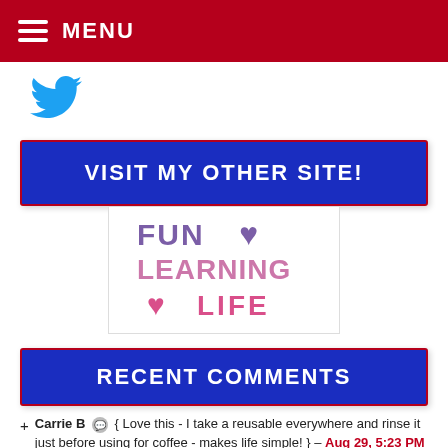MENU
[Figure (logo): Twitter bird logo icon in blue]
VISIT MY OTHER SITE!
[Figure (logo): Fun Learning Life logo with heart icons]
RECENT COMMENTS
Carrie B { Love this - I take a reusable everywhere and rinse it just before using for coffee - makes life simple! } – Aug 29, 5:23 PM
Crystal { Hi Carlee. It's all about time management right? I find